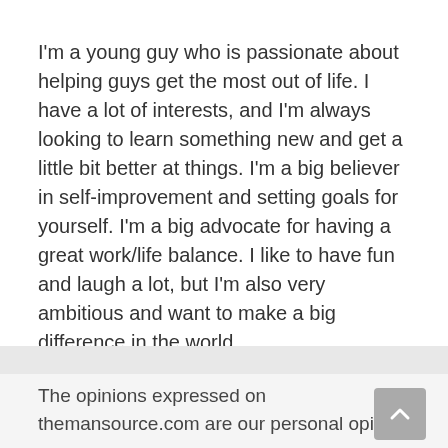I'm a young guy who is passionate about helping guys get the most out of life. I have a lot of interests, and I'm always looking to learn something new and get a little bit better at things. I'm a big believer in self-improvement and setting goals for yourself. I'm a big advocate for having a great work/life balance. I like to have fun and laugh a lot, but I'm also very ambitious and want to make a big difference in the world. (Learn more)
The opinions expressed on themansource.com are our personal opinions